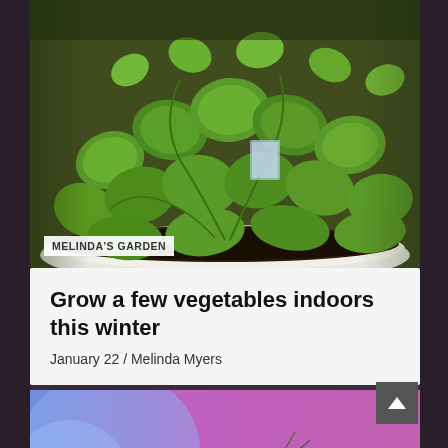[Figure (photo): Close-up photo of young green vegetable seedlings (peas) growing in a white round pot with dark soil, shot from above at a low angle.]
MELINDA'S GARDEN
Grow a few vegetables indoors this winter
January 22 / Melinda Myers
[Figure (photo): Close-up macro photo of an insect (cricket or grasshopper) against a blurred blue and pink/magenta background.]